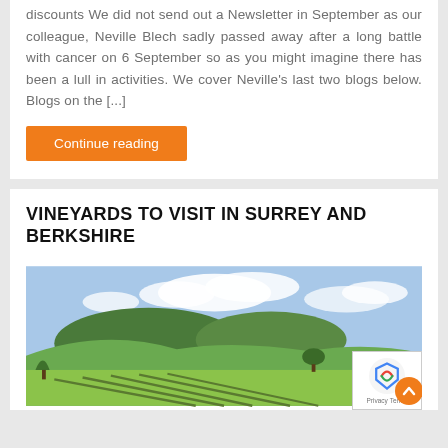discounts We did not send out a Newsletter in September as our colleague, Neville Blech sadly passed away after a long battle with cancer on 6 September so as you might imagine there has been a lull in activities. We cover Neville's last two blogs below. Blogs on the [...]
Continue reading
VINEYARDS TO VISIT IN SURREY AND BERKSHIRE
[Figure (photo): Landscape photo of a vineyard with rolling green hills, fields, and a partly cloudy sky in Surrey/Berkshire countryside.]